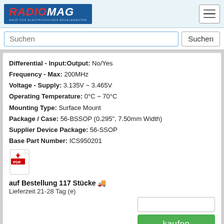RADIOMAG - SHOP VON ELEKTRONISCHEN BAUELEMENTEN
Differential - Input:Output: No/Yes
Frequency - Max: 200MHz
Voltage - Supply: 3.135V ~ 3.465V
Operating Temperature: 0°C ~ 70°C
Mounting Type: Surface Mount
Package / Case: 56-BSSOP (0.295", 7.50mm Width)
Supplier Device Package: 56-SSOP
Base Part Number: ICS950201
[Figure (other): PDF document icon]
auf Bestellung 117 Stücke 🚚
Lieferzeit 21-28 Tag (e)
[Figure (other): PayPal logo with trademark symbol]
goods index